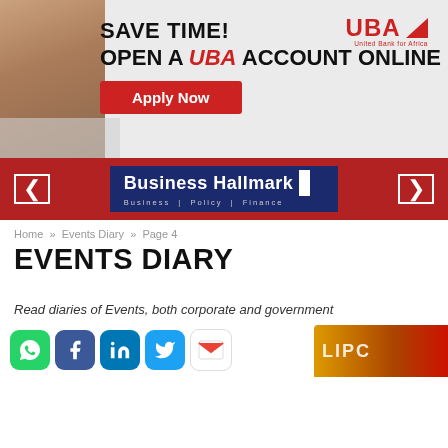[Figure (infographic): UBA bank advertisement banner: 'SAVE TIME! OPEN A UBA ACCOUNT ONLINE' with Apply Now button and UBA logo. Shows person at laptop on left side.]
[Figure (logo): Business Hallmark logo - navy blue background with white bold text 'Business Hallmark' and tagline 'Business | Policy | Finance']
Home / Events Diary / Page 4
EVENTS DIARY
Read diaries of Events, both corporate and government
[Figure (infographic): Social media sharing icons: WhatsApp (green), Facebook (blue), LinkedIn (blue), Twitter (light blue), Gmail (white/red)]
[Figure (photo): Partial image visible at bottom right, appears to show a colorful graphic or logo.]